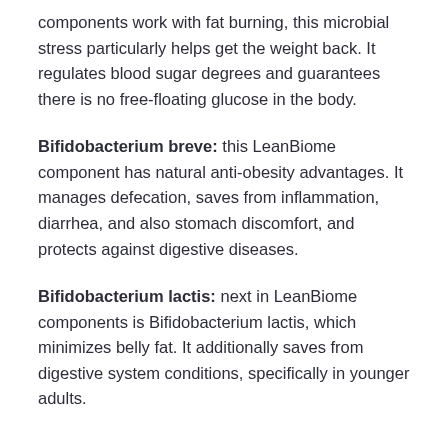components work with fat burning, this microbial stress particularly helps get the weight back. It regulates blood sugar degrees and guarantees there is no free-floating glucose in the body.
Bifidobacterium breve: this LeanBiome component has natural anti-obesity advantages. It manages defecation, saves from inflammation, diarrhea, and also stomach discomfort, and protects against digestive diseases.
Bifidobacterium lactis: next in LeanBiome components is Bifidobacterium lactis, which minimizes belly fat. It additionally saves from digestive system conditions, specifically in younger adults.